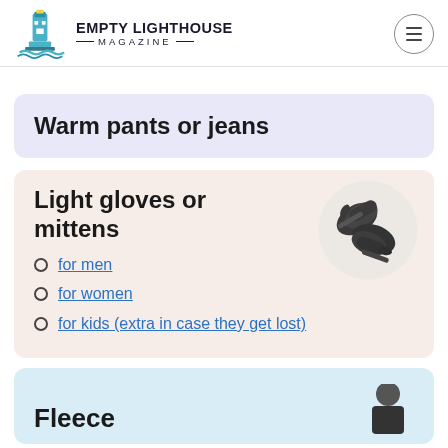Empty Lighthouse Magazine
Warm pants or jeans
Light gloves or mittens
for men
for women
for kids (extra in case they get lost)
[Figure (photo): Dark grey knit gloves/mittens on a white circular background]
Fleece